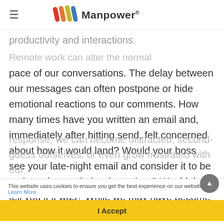≡  //// Manpower®
productivity and interactions. Remote work can alter the normal pace of our conversations. The delay between our messages can often postpone or hide emotional reactions to our comments. How many times have you written an email and, immediately after hitting send, felt concerned about how it would land? Would your boss see your late-night email and consider it to be an intrusion on their private time? Would they tell you if it was? While we may have become used to these types of asynchronous interactions, they can still conflict with our normal rules for social interaction. Lacking an immediate response, we can become distracted, second-guess ourselves, or even grow frustrated with our
This website uses cookies to ensure you get the best experience on our website. Learn More
I Accept